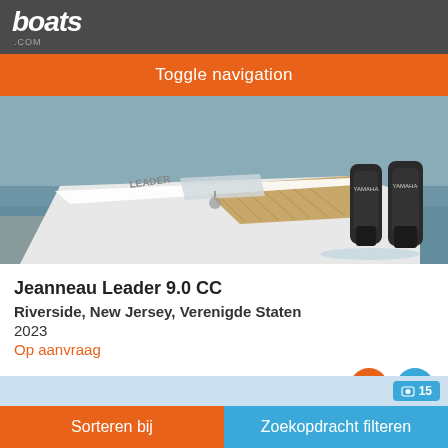boats.com
Toggle navigation
[Figure (photo): Aerial view of a white Jeanneau Leader 9.0 CC motorboat with twin outboard motors (Yamaha), docked at a marina with water visible alongside the hull and a teak deck visible.]
Jeanneau Leader 9.0 CC
Riverside, New Jersey, Verenigde Staten
2023
Op aanvraag
Verkoper Riverside Marina & Yacht Sales
Sorteren bij
Zoekopdracht filteren